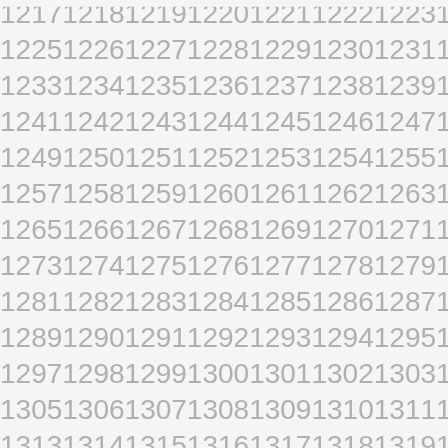12251226122712281229123012311232
12331234123512361237123812391240
12411242124312441245124612471248
12491250125112521253125412551256
12571258125912601261126212631264
12651266126712681269127012711272
12731274127512761277127812791280
12811282128312841285128612871288
12891290129112921293129412951296
12971298129913001301130213031304
13051306130713081309131013111312
13131314131513161317131813191320
13211322132313241325132613271328